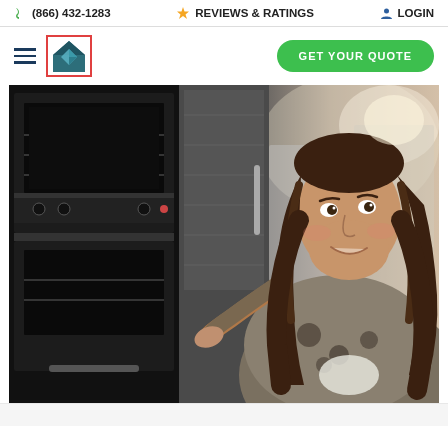(866) 432-1283  REVIEWS & RATINGS  LOGIN
[Figure (logo): Home warranty company logo - house shape in teal/dark blue with red border outline]
GET YOUR QUOTE
[Figure (photo): Woman smiling and examining kitchen appliances (ovens/ranges) in an appliance showroom, wearing a grey floral scarf]